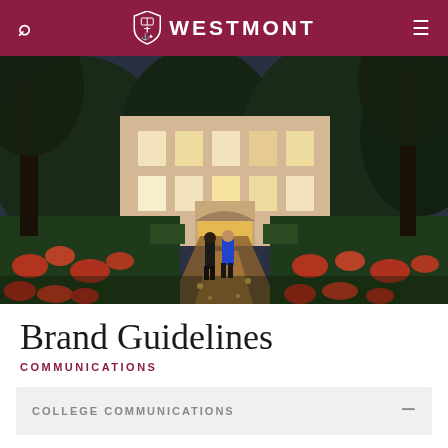WESTMONT
[Figure (photo): Two students walking toward a lit campus building at dusk, surrounded by flowering gardens and large trees]
Brand Guidelines
COMMUNICATIONS
COLLEGE COMMUNICATIONS